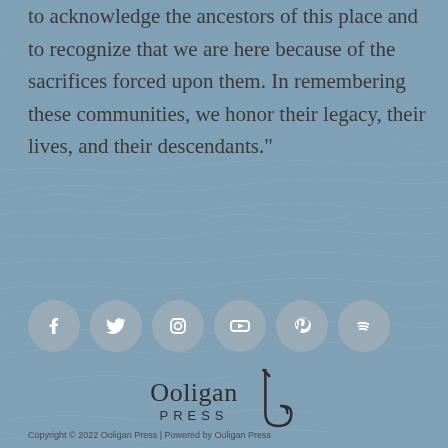to acknowledge the ancestors of this place and to recognize that we are here because of the sacrifices forced upon them. In remembering these communities, we honor their legacy, their lives, and their descendants."
[Figure (infographic): Six social media icon circles: Facebook, Twitter, Instagram, YouTube, Pinterest, Spotify]
[Figure (logo): Ooligan Press logo with text 'Ooligan PRESS' and a fish hook illustration]
Copyright © 2022 Ooligan Press | Powered by Ooligan Press